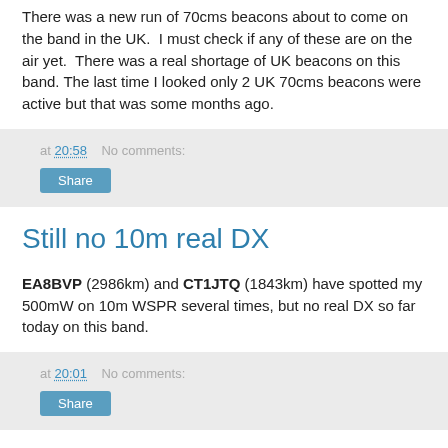There was a new run of 70cms beacons about to come on the band in the UK. I must check if any of these are on the air yet. There was a real shortage of UK beacons on this band. The last time I looked only 2 UK 70cms beacons were active but that was some months ago.
at 20:58   No comments:
Still no 10m real DX
EA8BVP (2986km) and CT1JTQ (1843km) have spotted my 500mW on 10m WSPR several times, but no real DX so far today on this band.
at 20:01   No comments: